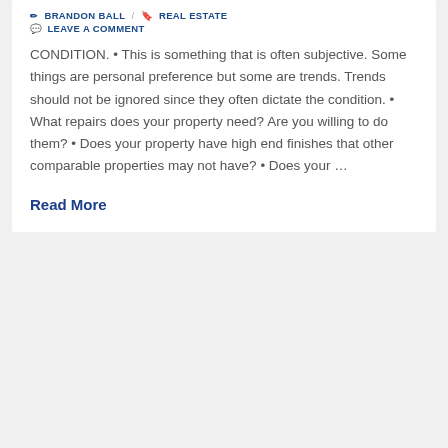BRANDON BALL / REAL ESTATE
LEAVE A COMMENT
CONDITION. • This is something that is often subjective. Some things are personal preference but some are trends. Trends should not be ignored since they often dictate the condition. • What repairs does your property need? Are you willing to do them? • Does your property have high end finishes that other comparable properties may not have? • Does your …
Read More